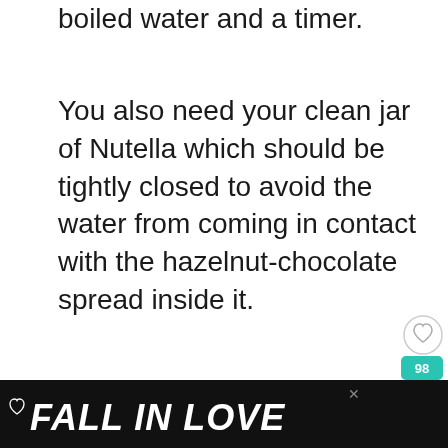boiled water and a timer.
You also need your clean jar of Nutella which should be tightly closed to avoid the water from coming in contact with the hazelnut-chocolate spread inside it.
[Figure (screenshot): UI elements: heart/like button, share count badge showing 98, teal share button, 'What's Next' recommendation showing 'What Are Pepitas?...' with food image]
[Figure (photo): Light gray image placeholder area]
[Figure (screenshot): Black advertisement bar at bottom with heart icon, 'FALL IN LOVE' text in white italic bold, close X button, person photo, and Tidal logo]